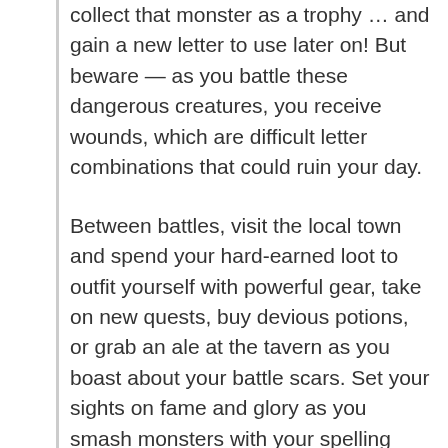collect that monster as a trophy … and gain a new letter to use later on! But beware — as you battle these dangerous creatures, you receive wounds, which are difficult letter combinations that could ruin your day.

Between battles, visit the local town and spend your hard-earned loot to outfit yourself with powerful gear, take on new quests, buy devious potions, or grab an ale at the tavern as you boast about your battle scars. Set your sights on fame and glory as you smash monsters with your spelling skills and rid the world of evil!
Source
Renegade Game Studios
Spell Smashers
← Project L Puzzle
Age of Myth: Ancient